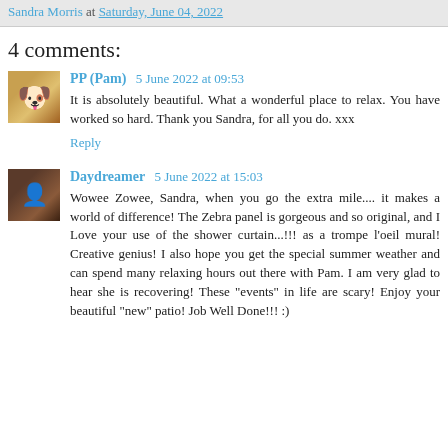Sandra Morris at Saturday, June 04, 2022
4 comments:
PP (Pam) 5 June 2022 at 09:53
It is absolutely beautiful. What a wonderful place to relax. You have worked so hard. Thank you Sandra, for all you do. xxx
Reply
Daydreamer 5 June 2022 at 15:03
Wowee Zowee, Sandra, when you go the extra mile.... it makes a world of difference! The Zebra panel is gorgeous and so original, and I Love your use of the shower curtain...!!! as a trompe l'oeil mural! Creative genius! I also hope you get the special summer weather and can spend many relaxing hours out there with Pam. I am very glad to hear she is recovering! These "events" in life are scary! Enjoy your beautiful "new" patio! Job Well Done!!! :)